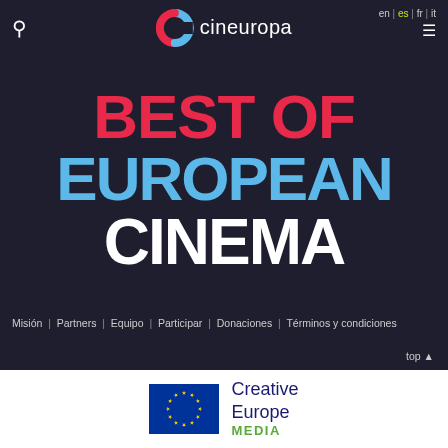cineuropa — en | es | fr | it
[Figure (logo): Cineuropa logo with multicolor C icon and white cineuropa text]
BEST OF EUROPEAN CINEMA
Misión | Partners | Equipo | Participar | Donaciones | Términos y condiciones — top
[Figure (logo): Creative Europe MEDIA logo with EU flag stars on blue background]